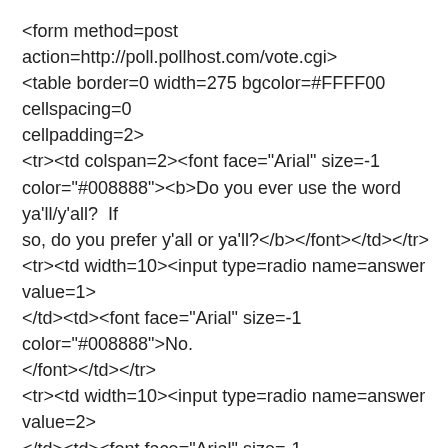<form method=post action=http://poll.pollhost.com/vote.cgi> <table border=0 width=275 bgcolor=#FFFF00 cellspacing=0 cellpadding=2> <tr><td colspan=2><font face="Arial" size=-1 color="#008888"><b>Do you ever use the word ya'll/y'all?  If so, do you prefer y'all or ya'll?</b></font></td></tr> <tr><td width=10><input type=radio name=answer value=1> </td><td><font face="Arial" size=-1 color="#008888">No. </font></td></tr> <tr><td width=10><input type=radio name=answer value=2> </td><td><font face="Arial" size=-1 color="#008888">Yes, and the correct way to spell it is Y'ALL!</font></td></tr> <tr><td width=10><input type=radio name=answer value=3> </td><td><font face="Arial" size=-1 color="#008888">Yes, and the correct way to spell it is YA'LL!</font></td></tr> <tr><td width=10><input type=radio name=answer value=4> </td><td><font face="Arial" size=-1 color="#008888">Absolutely not!  I refuse to butcher the